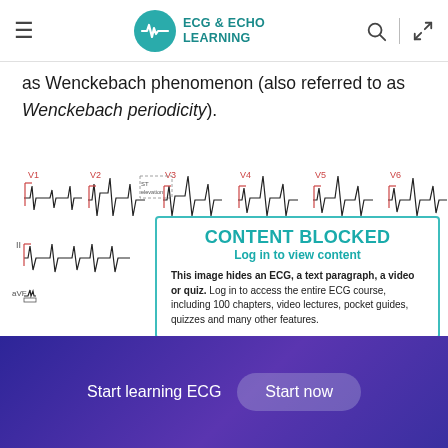ECG & ECHO LEARNING
as Wenckebach phenomenon (also referred to as Wenckebach periodicity).
[Figure (other): ECG trace showing leads V1-V6, II, and aVF with waveforms and ST elevation annotation, partially obscured by a 'CONTENT BLOCKED' overlay requiring login to view the full content including ECG, text paragraph, video or quiz.]
Start learning ECG
Start now